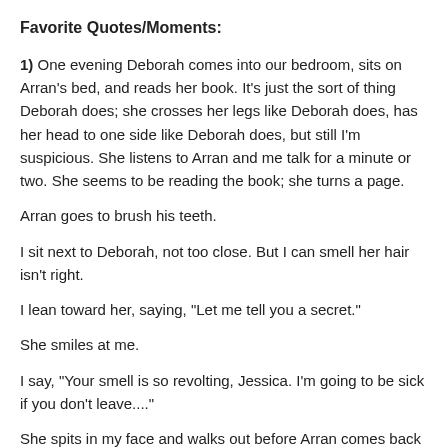Favorite Quotes/Moments:
1) One evening Deborah comes into our bedroom, sits on Arran's bed, and reads her book. It's just the sort of thing Deborah does; she crosses her legs like Deborah does, has her head to one side like Deborah does, but still I'm suspicious. She listens to Arran and me talk for a minute or two. She seems to be reading the book; she turns a page.
Arran goes to brush his teeth.
I sit next to Deborah, not too close. But I can smell her hair isn't right.
I lean toward her, saying, "Let me tell you a secret."
She smiles at me.
I say, "Your smell is so revolting, Jessica. I'm going to be sick if you don't leave...."
She spits in my face and walks out before Arran comes back